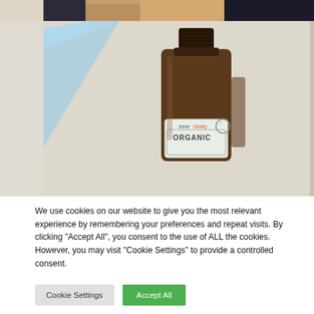[Figure (photo): Top portion of a photo showing a person, partially cropped at the top of the page]
[Figure (photo): Photo of a dark amber glass bottle with an InnerVitality label reading ORGANIC, set against a light background with a blue diagonal stripe]
We use cookies on our website to give you the most relevant experience by remembering your preferences and repeat visits. By clicking “Accept All”, you consent to the use of ALL the cookies. However, you may visit "Cookie Settings" to provide a controlled consent.
Cookie Settings
Accept All